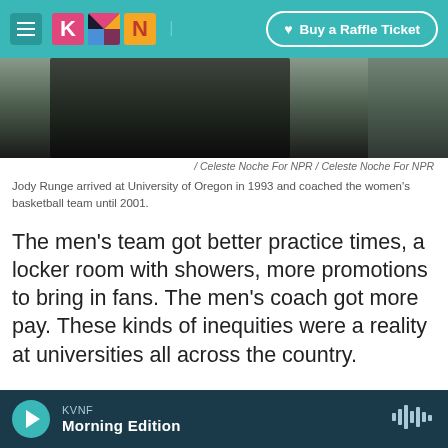KVNF logo with Buy a Raffle Ticket button
[Figure (photo): Partial photo of a person, dark background, cropped at top]
/ Celeste Noche For NPR / Celeste Noche For NPR
Jody Runge arrived at University of Oregon in 1993 and coached the women's basketball team until 2001.
The men's team got better practice times, a locker room with showers, more promotions to bring in fans. The men's coach got more pay. These kinds of inequities were a reality at universities all across the country.
Many women in college athletics believed schools
KVNF Morning Edition